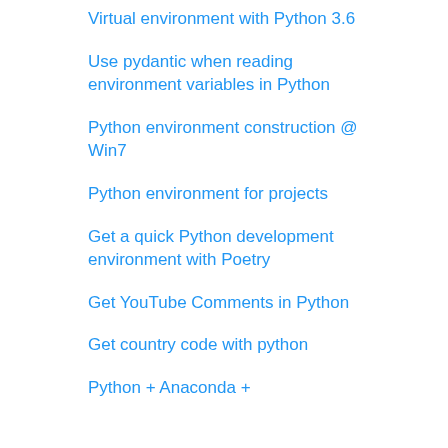Virtual environment with Python 3.6
Use pydantic when reading environment variables in Python
Python environment construction @ Win7
Python environment for projects
Get a quick Python development environment with Poetry
Get YouTube Comments in Python
Get country code with python
Python + Anaconda +…